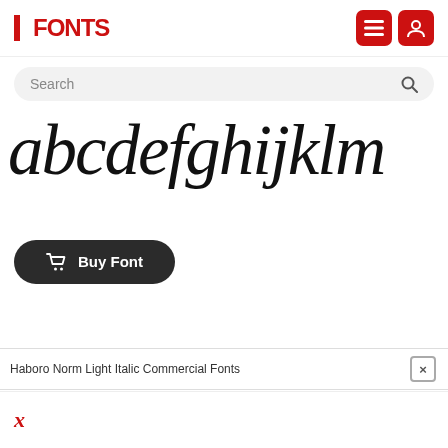FONTS (logo with navigation icons)
Search
[Figure (illustration): Large italic serif font preview showing lowercase letters: abcdefghijklm]
Buy Font
Haboro Norm Light Italic Commercial Fonts